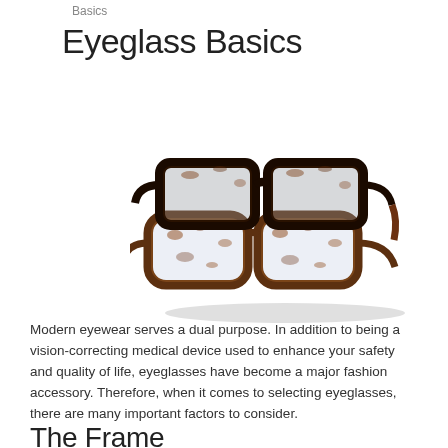Basics
Eyeglass Basics
[Figure (photo): Two pairs of tortoiseshell eyeglass frames stacked on top of each other, photographed on a white background.]
Modern eyewear serves a dual purpose. In addition to being a vision-correcting medical device used to enhance your safety and quality of life, eyeglasses have become a major fashion accessory. Therefore, when it comes to selecting eyeglasses, there are many important factors to consider.
The Frame